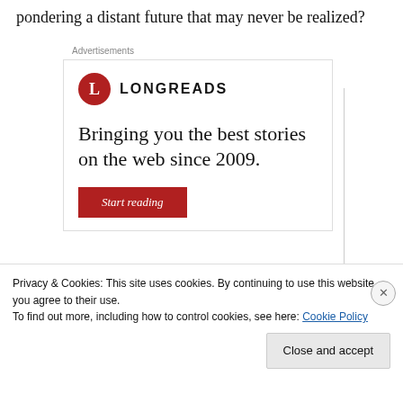pondering a distant future that may never be realized?
Advertisements
[Figure (logo): Longreads logo: red circle with white L, followed by LONGREADS in bold sans-serif capitals]
Bringing you the best stories on the web since 2009.
Start reading
Privacy & Cookies: This site uses cookies. By continuing to use this website, you agree to their use.
To find out more, including how to control cookies, see here: Cookie Policy
Close and accept